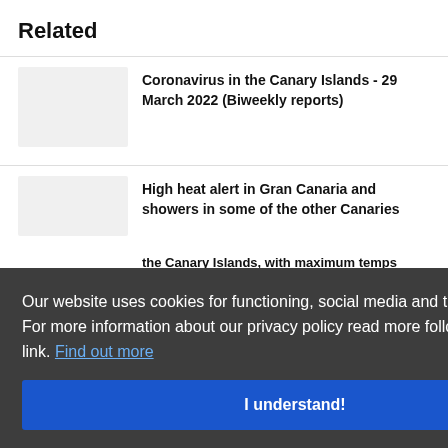Related
Coronavirus in the Canary Islands - 29 March 2022 (Biweekly reports)
High heat alert in Gran Canaria and showers in some of the other Canaries
the Canary Islands, with maximum temps reaching 34°C
Our website uses cookies for functioning, social media and traffic analysis. For more information about our privacy policy read more following the next link. Find out more
I understand!
Canary Islands ports reached pre pandemic figures in terms of passenger